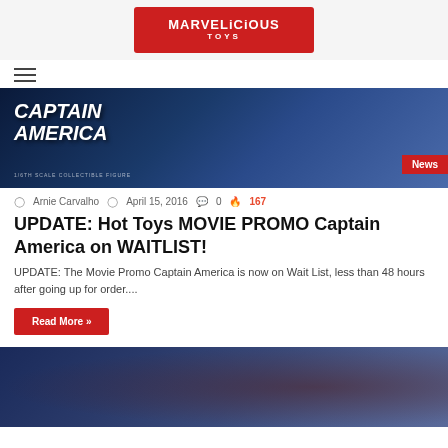[Figure (logo): Marvelicious Toys logo banner with red background, white text reading MARVELICIOUS TOYS, with Deadpool and Cyclops figurines on sides]
[Figure (photo): Captain America 1/6th scale collectible figure promotional banner image with dark blue background. Text overlaid: CAPTAIN AMERICA with News badge in bottom right corner.]
Arnie Carvalho  April 15, 2016  0  167
UPDATE: Hot Toys MOVIE PROMO Captain America on WAITLIST!
UPDATE:  The Movie Promo Captain America is now on Wait List, less than 48 hours after going up for order....
Read More »
[Figure (photo): Ant-Man figurine promotional image with blue-toned background, showing Ant-Man in red and silver suit with glowing red eyes.]